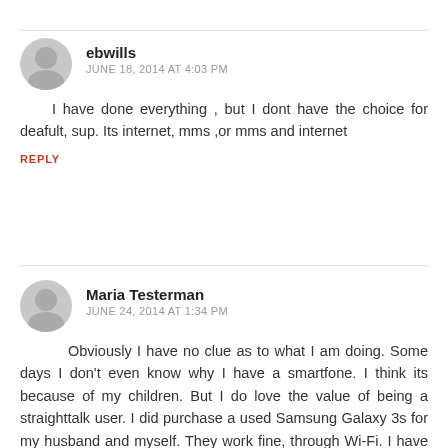ebwills
JUNE 18, 2014 AT 4:03 PM
I have done everything , but I dont have the choice for deafult, sup. Its internet, mms ,or mms and internet
REPLY
Maria Testerman
JUNE 24, 2014 AT 1:34 PM
Obviously I have no clue as to what I am doing. Some days I don't even know why I have a smartfone. I think its because of my children. But I do love the value of being a straighttalk user. I did purchase a used Samsung Galaxy 3s for my husband and myself. They work fine, through Wi-Fi. I have followed the APN settings for both att. and the wap.tracfone but they still won't